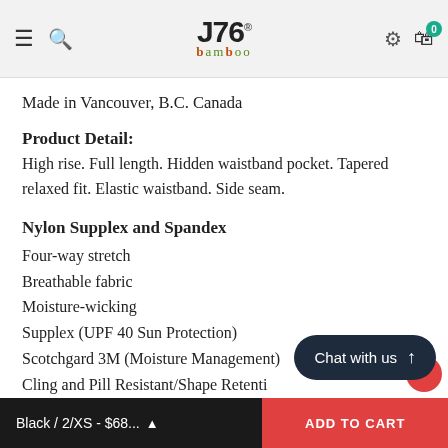J76 Bamboo Wear – navigation header with hamburger menu, search, logo, settings, and cart (0 items)
Made in Vancouver, B.C. Canada
Product Detail:
High rise. Full length. Hidden waistband pocket. Tapered relaxed fit. Elastic waistband. Side seam.
Nylon Supplex and Spandex
Four-way stretch
Breathable fabric
Moisture-wicking
Supplex (UPF 40 Sun Protection)
Scotchgard 3M (Moisture Management)
Cling and Pill Resistant/Shape Retention
[Best washed inside out in cold water
Black / 2/XS - $68...   ADD TO CART